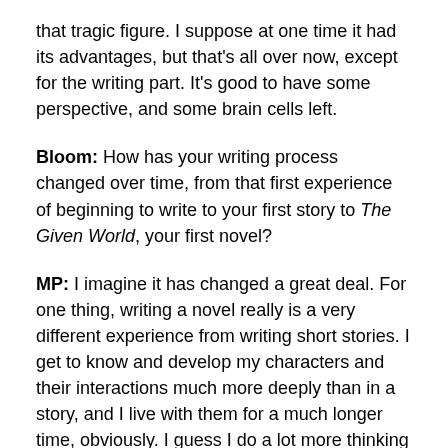that tragic figure. I suppose at one time it had its advantages, but that's all over now, except for the writing part. It's good to have some perspective, and some brain cells left.
Bloom: How has your writing process changed over time, from that first experience of beginning to write to your first story to The Given World, your first novel?
MP: I imagine it has changed a great deal. For one thing, writing a novel really is a very different experience from writing short stories. I get to know and develop my characters and their interactions much more deeply than in a story, and I live with them for a much longer time, obviously. I guess I do a lot more thinking about where I'm going, and I plan a lot more, which is not to say I outline, but I like, at least incrementally, to have some sense of